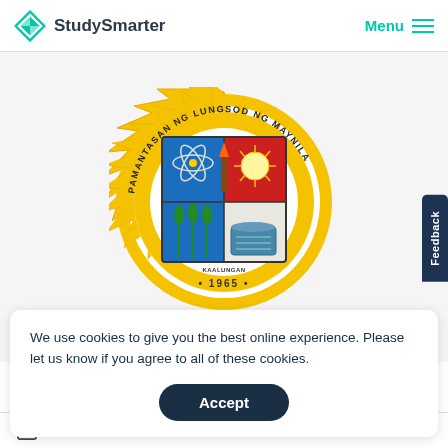[Figure (logo): StudySmarter logo with teal diamond/box icon and bold text 'StudySmarter']
[Figure (logo): Pamantasan ng Lungsod ng Maynila university seal/crest — circular yellow starburst border, quartered shield with science atom, sun/rays, rice paddy and book, blue lower half, torch, text 'PAMANTASAN NG LUNGSOD NG MAYNILA' and '1965', 'KAALUNGAN' at bottom]
We use cookies to give you the best online experience. Please let us know if you agree to all of these cookies.
Accept
1 Lernmaterialien